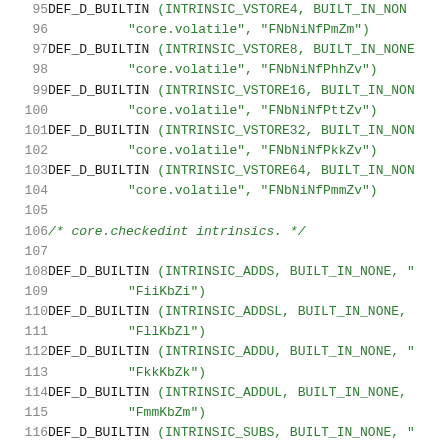[Figure (screenshot): Source code listing showing C preprocessor macro definitions DEF_D_BUILTIN for various INTRINSIC_VSTORE and INTRINSIC_ADD/SUB intrinsics with their string arguments, with green monospace text on white background and gray line numbers from 95 to 116.]